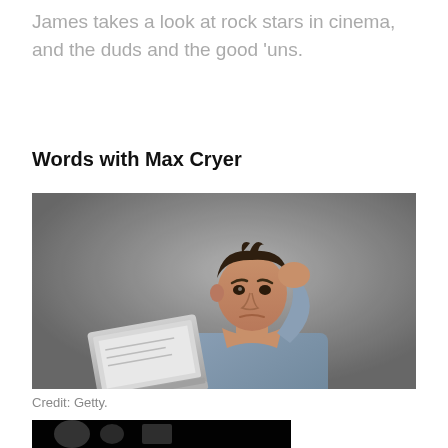James takes a look at rock stars in cinema, and the duds and the good 'uns.
Words with Max Cryer
[Figure (photo): A man in a denim shirt holding a laptop with a confused/stressed expression, scratching his head. Gray background. Stock photo.]
Credit: Getty.
[Figure (photo): Partial view of a dark image at the bottom of the page, content not fully visible.]